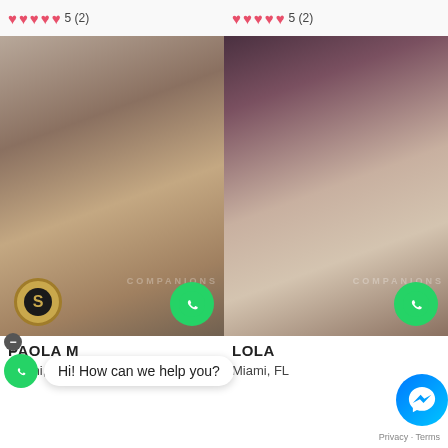[Figure (screenshot): Two escort/companion listing cards side by side. Left card shows PAOLA M in Miami FL with rating 5(2), photo of woman in lingerie, messaging buttons. Right card shows LOLA in Miami FL with rating 5(2), photo of woman in swimwear, WhatsApp button. A chat overlay reads 'Hi! How can we help you?' with a green WhatsApp button. A Messenger button appears bottom right with Privacy-Terms text.]